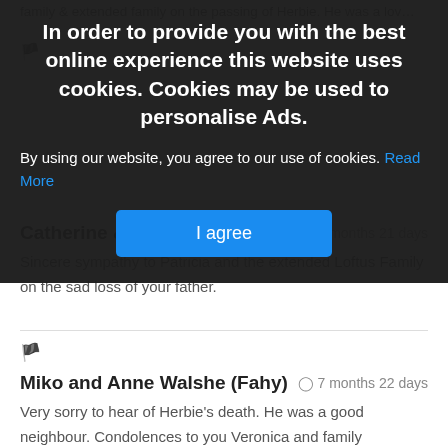family & extended family on the passing of Herbie. He was a lov... 🏴
[Figure (screenshot): Cookie consent overlay with dark background. Title: 'In order to provide you with the best online experience this website uses cookies. Cookies may be used to personalise Ads.' Body text: 'By using our website, you agree to our use of cookies. Read More'. Button: 'I agree']
Catherine & Brendan Forde
⊙ 7 months 21 days
Sincere sympathy to Patricia and the extended Loftus Family on the sad loss of your father.
🏴
Miko and Anne Walshe (Fahy)
⊙ 7 months 22 days
Very sorry to hear of Herbie's death. He was a good neighbour. Condolences to you Veronica and family